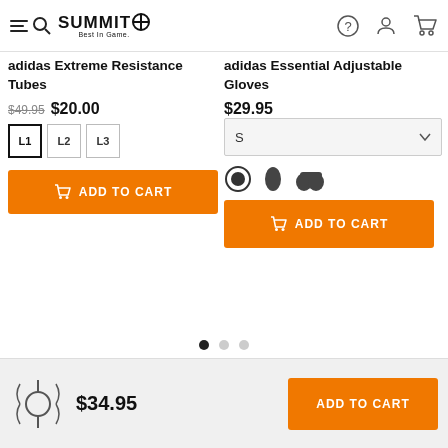Summit Best In Game. [navigation: help, account, cart]
adidas Extreme Resistance Tubes
$49.95 $20.00
Sizes: L1 (selected), L2, L3
ADD TO CART
adidas Essential Adjustable Gloves
$29.95
Size dropdown: S
Color swatches
ADD TO CART
Carousel pagination dots
$34.95 ADD TO CART